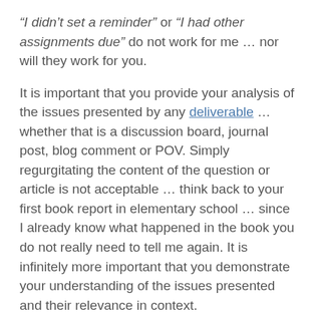“I didn’t set a reminder” or “I had other assignments due” do not work for me … nor will they work for you.
It is important that you provide your analysis of the issues presented by any deliverable … whether that is a discussion board, journal post, blog comment or POV. Simply regurgitating the content of the question or article is not acceptable … think back to your first book report in elementary school … since I already know what happened in the book you do not really need to tell me again. It is infinitely more important that you demonstrate your understanding of the issues presented and their relevance in context.
My assessment of your submissions will also be